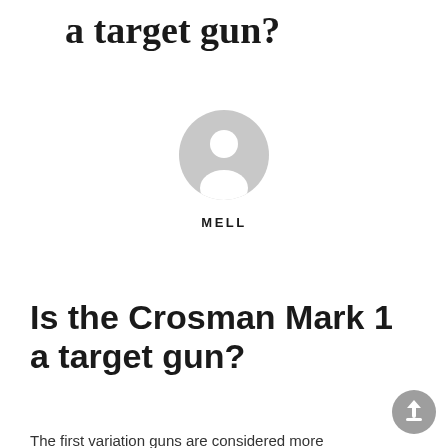a target gun?
[Figure (illustration): Generic user avatar icon — grey circle with a white silhouette of a person]
MELL
Is the Crosman Mark 1 a target gun?
The first variation guns are considered more